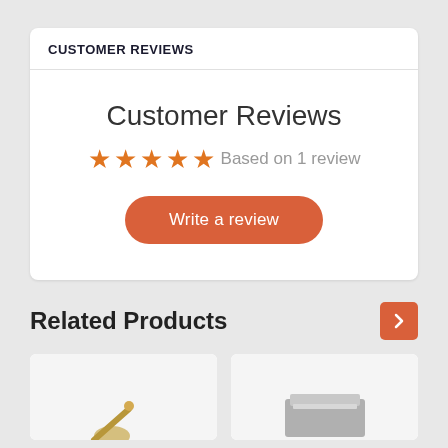CUSTOMER REVIEWS
Customer Reviews
★★★★★ Based on 1 review
Write a review
Related Products
[Figure (photo): Product thumbnail image 1 (partial view of small golden item)]
[Figure (photo): Product thumbnail image 2 (partial view of gray item)]